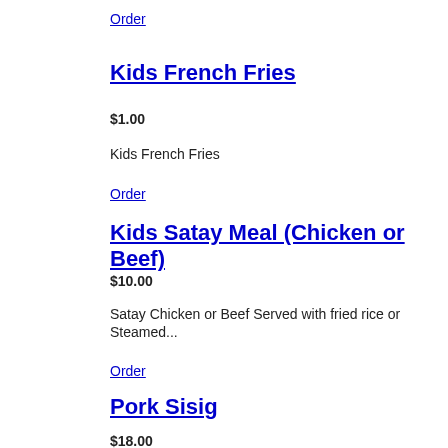Order
Kids French Fries
$1.00
Kids French Fries
Order
Kids Satay Meal (Chicken or Beef)
$10.00
Satay Chicken or Beef Served with fried rice or Steamed...
Order
Pork Sisig
$18.00